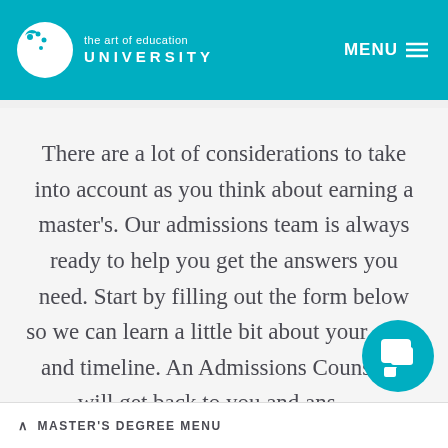the art of education UNIVERSITY | MENU
There are a lot of considerations to take into account as you think about earning a master's. Our admissions team is always ready to help you get the answers you need. Start by filling out the form below so we can learn a little bit about your goals and timeline. An Admissions Counselor will get back to you and answer your questions. Then, you can schedule a
^ MASTER'S DEGREE MENU